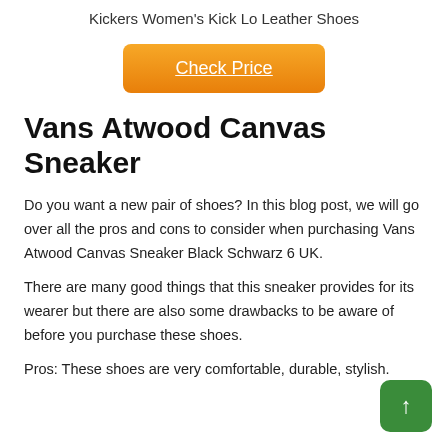Kickers Women's Kick Lo Leather Shoes
Check Price
Vans Atwood Canvas Sneaker
Do you want a new pair of shoes? In this blog post, we will go over all the pros and cons to consider when purchasing Vans Atwood Canvas Sneaker Black Schwarz 6 UK.
There are many good things that this sneaker provides for its wearer but there are also some drawbacks to be aware of before you purchase these shoes.
Pros: These shoes are very comfortable, durable, stylish.